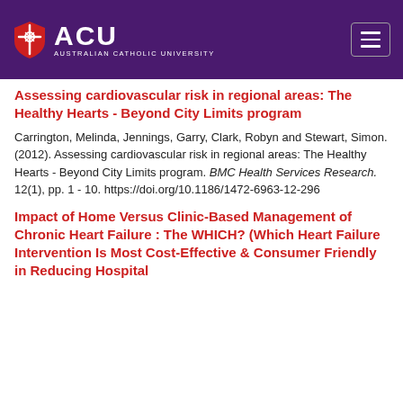ACU - Australian Catholic University
Assessing cardiovascular risk in regional areas: The Healthy Hearts - Beyond City Limits program
Carrington, Melinda, Jennings, Garry, Clark, Robyn and Stewart, Simon. (2012). Assessing cardiovascular risk in regional areas: The Healthy Hearts - Beyond City Limits program. BMC Health Services Research. 12(1), pp. 1 - 10. https://doi.org/10.1186/1472-6963-12-296
Impact of Home Versus Clinic-Based Management of Chronic Heart Failure : The WHICH? (Which Heart Failure Intervention Is Most Cost-Effective & Consumer Friendly in Reducing Hospital